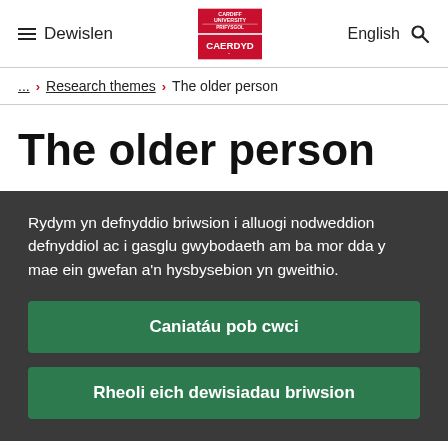≡ Dewislen | Cardiff University Prifysgol Caerdydd | English 🔍
... > Research themes > The older person
The older person
Rydym yn defnyddio briwsion i alluogi nodweddion defnyddiol ac i gasglu gwybodaeth am ba mor dda y mae ein gwefan a'n hysbysebion yn gweithio.
Caniatáu pob cwci
Rheoli eich dewisiadau briwsion